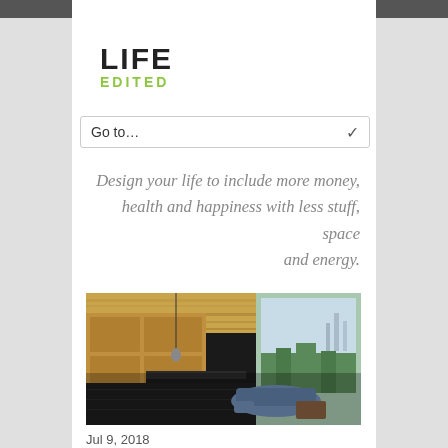LIFE EDITED
Go to...
Design your life to include more money, health and happiness with less stuff, space and energy.
[Figure (photo): Interior photo of a modern open-plan living space with wood cabinetry, dark floors, a blue chaise lounge, and floor-to-ceiling windows with a green landscape view]
Jul 9, 2018